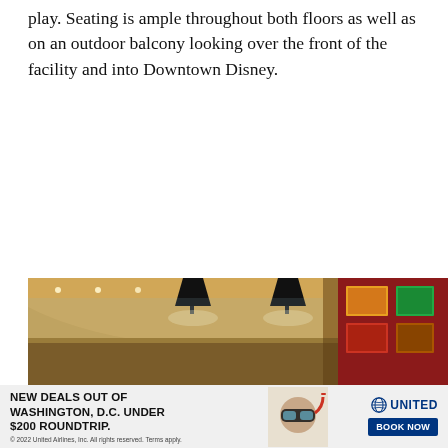play. Seating is ample throughout both floors as well as on an outdoor balcony looking over the front of the facility and into Downtown Disney.
[Figure (photo): Interior photo of a bowling alley or entertainment venue showing lanes, overhead lighting with black lamp shades, colorful display screens on the right side, and warm ambient lighting with a curved ceiling.]
[Figure (photo): United Airlines advertisement banner showing a person wearing snorkeling goggles. Text reads: NEW DEALS OUT OF WASHINGTON, D.C. UNDER $200 ROUNDTRIP. with a BOOK NOW button and United Airlines logo. Fine print: © 2022 United Airlines, Inc. All rights reserved. Terms apply.]